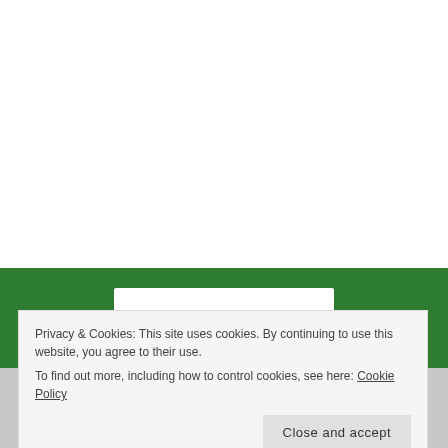made out of a significant number techniques that could be utilized and how to function the wager is chosen by day.
These days you don't have to seem further for every one of the subtle elements in light of the fact that here we have the majority of the information you need to get it. The whole detail is given underneath. Ideally you will consider us for your next site configuration, yet notwithstanding when you don't here are a couple of tips you may use to get without a doubt the most incentive for your undertaking.
[Figure (other): Green banner with white box containing 'Back up your site' text in green]
Privacy & Cookies: This site uses cookies. By continuing to use this website, you agree to their use. To find out more, including how to control cookies, see here: Cookie Policy
Close and accept